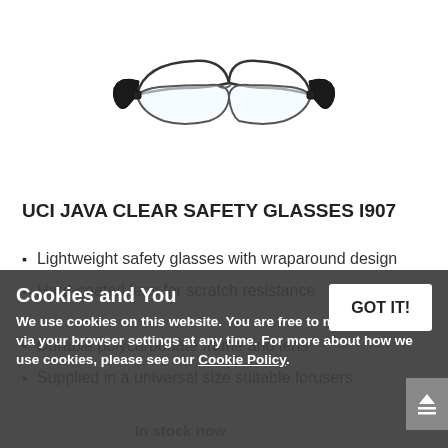[Figure (photo): Safety glasses with clear wraparound lenses and black temple arms]
UCI JAVA CLEAR SAFETY GLASSES I907
Lightweight safety glasses with wraparound design
Hard-coated lens for scratch resistance
Durable polycarbonate frame and lens
Supplied in a universal size suitable for users
In stock now
Cookies and You
We use cookies on this website. You are free to manage these via your browser settings at any time. For more about how we use cookies, please see our Cookie Policy.
GOT IT!